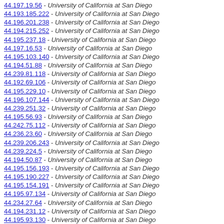44.197.19.56 - University of California at San Diego
44.193.185.222 - University of California at San Diego
44.196.201.238 - University of California at San Diego
44.194.215.252 - University of California at San Diego
44.195.237.18 - University of California at San Diego
44.197.16.53 - University of California at San Diego
44.195.103.140 - University of California at San Diego
44.194.51.88 - University of California at San Diego
44.239.81.118 - University of California at San Diego
44.192.69.106 - University of California at San Diego
44.195.229.10 - University of California at San Diego
44.196.107.144 - University of California at San Diego
44.239.251.32 - University of California at San Diego
44.195.56.93 - University of California at San Diego
44.242.75.112 - University of California at San Diego
44.236.23.60 - University of California at San Diego
44.239.206.243 - University of California at San Diego
44.239.224.5 - University of California at San Diego
44.194.50.87 - University of California at San Diego
44.195.156.193 - University of California at San Diego
44.195.190.227 - University of California at San Diego
44.195.154.191 - University of California at San Diego
44.195.97.134 - University of California at San Diego
44.234.27.64 - University of California at San Diego
44.194.231.12 - University of California at San Diego
44.195.93.130 - University of California at San Diego
44.193.230.11 - University of California at San Diego
44.194.1.38 - University of California at San Diego
44.242.121.158 - University of California at San Diego
44.192.71.108 - University of California at San Diego